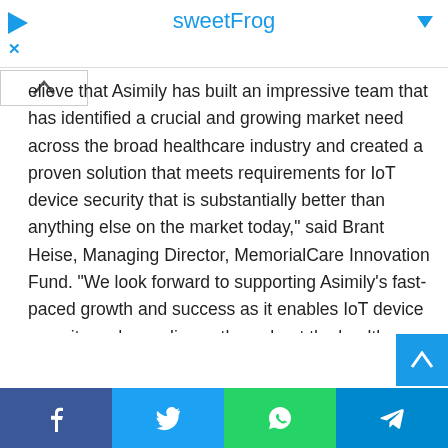sweetFrog
...elieve that Asimily has built an impressive team that has identified a crucial and growing market need across the broad healthcare industry and created a proven solution that meets requirements for IoT device security that is substantially better than anything else on the market today," said Brant Heise, Managing Director, MemorialCare Innovation Fund. "We look forward to supporting Asimily's fast-paced growth and success as it enables IoT device security and compliance throughout the healthcare ecosystem."
Asimily's unique IoT security and risk mitigation capabilities are increasingly essential as the healthcare industry accelerates the implementation of connected devices. With ransomware attacks alone costing healthcare organizations $20.8 billion in downtime in 2020 (double the previous year)...
Facebook | Twitter | WhatsApp | Telegram